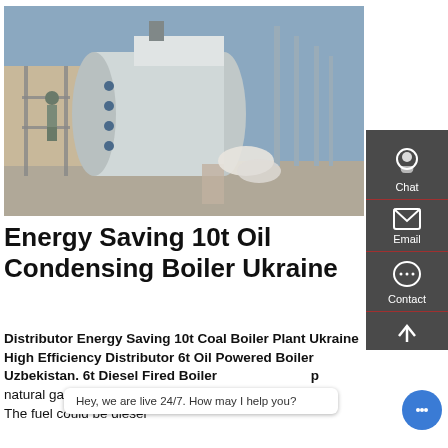[Figure (photo): Industrial boiler installation outdoors — a large horizontal cylindrical stainless steel boiler with pipes and fittings, a worker standing on scaffolding, blue sky background with chimneys/poles visible]
Energy Saving 10t Oil Condensing Boiler Ukraine
Distributor Energy Saving 10t Coal Boiler Plant Ukraine High Efficiency Distributor 6t Oil Powered Boiler Uzbekistan. 6t Diesel Fired Boiler … natural gas boiler high efficiency philippines. Jun 12 20... The fuel could be diesel.
[Figure (screenshot): Chat sidebar with Chat, Email, Contact icons on dark grey background, and a live chat popup bubble saying 'Hey, we are live 24/7. How may I help you?']